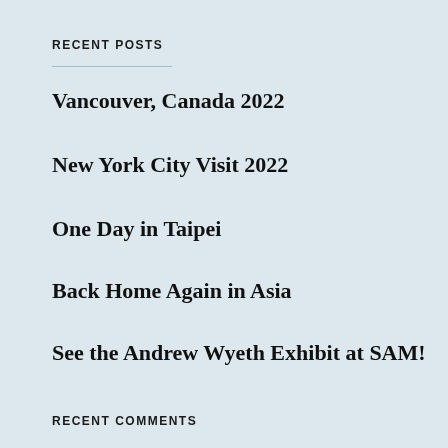RECENT POSTS
Vancouver, Canada 2022
New York City Visit 2022
One Day in Taipei
Back Home Again in Asia
See the Andrew Wyeth Exhibit at SAM!
RECENT COMMENTS